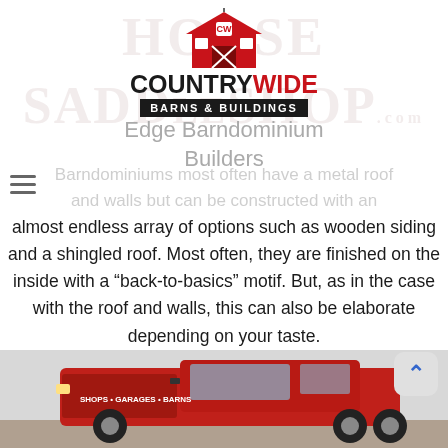[Figure (logo): Country Wide Barns & Buildings logo with red barn icon, watermark text HORSE SADDLE SHOP.com in background]
Edge Barndominiums most often have a metal roof and walls but can be constructed with an almost endless array of options such as wooden siding and a shingled roof. Most often, they are finished on the inside with a “back-to-basics” motif. But, as in the case with the roof and walls, this can also be elaborate depending on your taste.
almost endless array of options such as wooden siding and a shingled roof. Most often, they are finished on the inside with a “back-to-basics” motif. But, as in the case with the roof and walls, this can also be elaborate depending on your taste.
[Figure (photo): Red pickup truck with company branding at the bottom of the page]